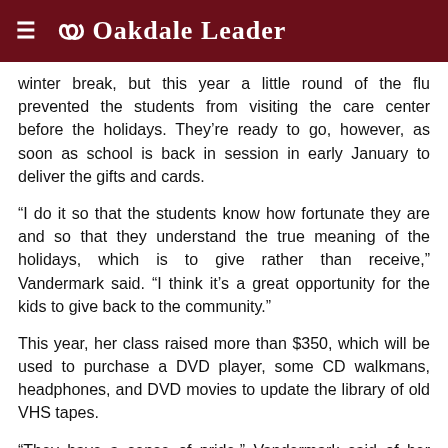Oakdale Leader
winter break, but this year a little round of the flu prevented the students from visiting the care center before the holidays. They’re ready to go, however, as soon as school is back in session in early January to deliver the gifts and cards.
“I do it so that the students know how fortunate they are and so that they understand the true meaning of the holidays, which is to give rather than receive,” Vandermark said. “I think it’s a great opportunity for the kids to give back to the community.”
This year, her class raised more than $350, which will be used to purchase a DVD player, some CD walkmans, headphones, and DVD movies to update the library of old VHS tapes.
“They have a sense of pride,” Vandermark said of her students’ response to the project. “They think it’s great that they’re able to give back. They always want to know how much they raised and